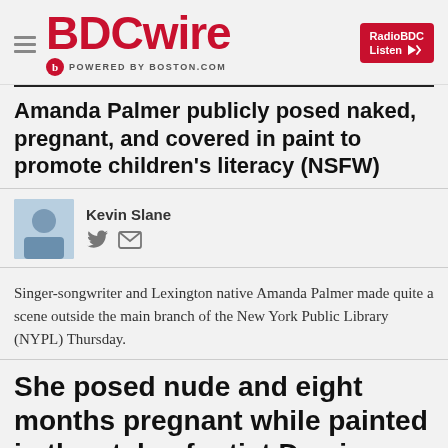BDCwire POWERED BY BOSTON.COM
Amanda Palmer publicly posed naked, pregnant, and covered in paint to promote children's literacy (NSFW)
Kevin Slane
Singer-songwriter and Lexington native Amanda Palmer made quite a scene outside the main branch of the New York Public Library (NYPL) Thursday.
She posed nude and eight months pregnant while painted in the style of artist Damien Hirst's statue